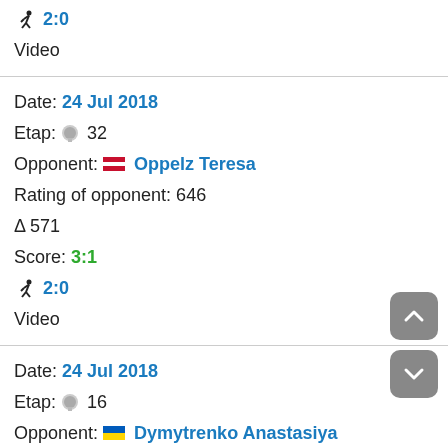🏃 2:0
Video
Date: 24 Jul 2018
Etap: 🏅 32
Opponent: 🇦🇹 Oppelz Teresa
Rating of opponent: 646
Δ 571
Score: 3:1
🏃 2:0
Video
Date: 24 Jul 2018
Etap: 🏅 16
Opponent: 🇺🇦 Dymytrenko Anastasiya
Rating of opponent: 150
Δ 75
Score: 3:1
🏃 1:0
Video